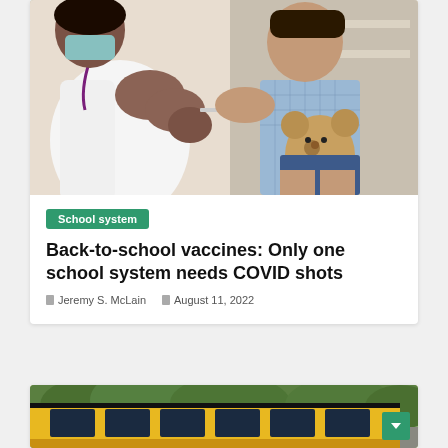[Figure (photo): A healthcare worker in white uniform administering a vaccine injection to a young child who is sitting holding a stuffed teddy bear. Medical setting with shelves in background.]
School system
Back-to-school vaccines: Only one school system needs COVID shots
Jeremy S. McLain   August 11, 2022
[Figure (photo): A yellow school bus parked near trees, viewed from outside. Partial view showing the side of the bus with windows and green trees in background.]